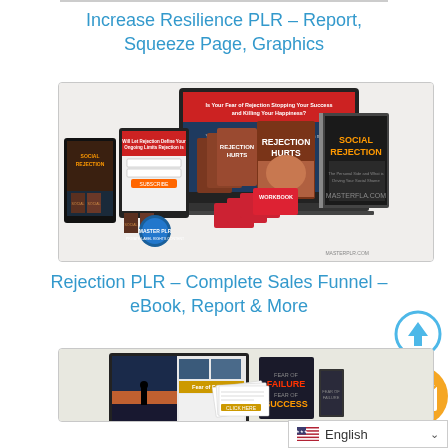Increase Resilience PLR – Report, Squeeze Page, Graphics
[Figure (photo): Product mockup bundle for Rejection PLR including books, workbooks, laptop display, and phone showing 'Social Rejection' covers with 'Rejection Hurts' title books, Master PLR branding]
Rejection PLR – Complete Sales Funnel – eBook, Report & More
[Figure (photo): Product mockup bundle showing laptop, tablet, books including 'Fear of Failure Fear of Success' cover]
English